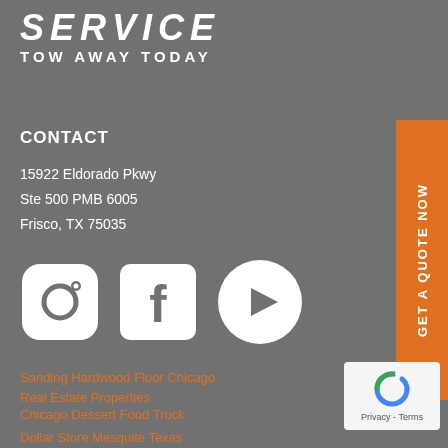SERVICE
TOW AWAY TODAY
CONTACT
15922 Eldorado Pkwy
Ste 500 PMB 6005
Frisco, TX 75035
[Figure (other): GET A QUOTE NOW orange vertical button on right side]
[Figure (other): Social media icons: Instagram, Facebook, YouTube]
Sanding Hardwood Floor Chicago
Real Estate Properties
Chicago Dessert Food Truck
Dollar Store Mesquite Texas
[Figure (other): Google reCAPTCHA badge with Privacy - Terms text]